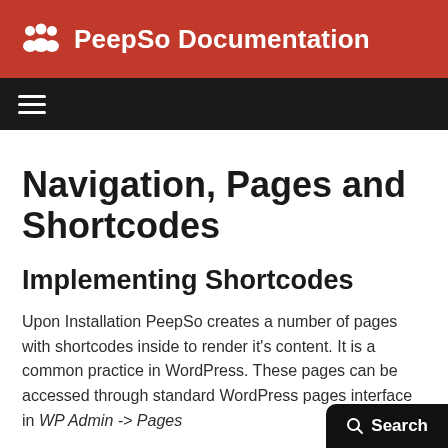PeepSo Documentation
Navigation, Pages and Shortcodes
Implementing Shortcodes
Upon Installation PeepSo creates a number of pages with shortcodes inside to render it's content. It is a common practice in WordPress. These pages can be accessed through standard WordPress pages interface in WP Admin -> Pages